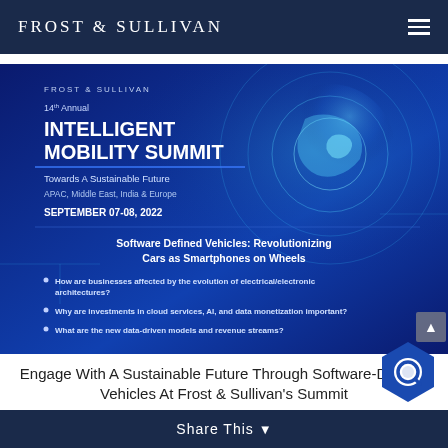FROST & SULLIVAN
[Figure (infographic): Frost & Sullivan 14th Annual Intelligent Mobility Summit banner. Blue background with globe/circuit imagery. Text: FROST & SULLIVAN, 14th Annual, INTELLIGENT MOBILITY SUMMIT, Towards A Sustainable Future, APAC, Middle East, India & Europe, SEPTEMBER 07-08, 2022. Topic: Software Defined Vehicles: Revolutionizing Cars as Smartphones on Wheels. Bullet points: How are businesses affected by the evolution of electrical/electronic architectures? Why are investments in cloud services, AI, and data monetization important? What are the new data-driven models and revenue streams?]
Engage With A Sustainable Future Through Software-Defined Vehicles At Frost & Sullivan's Summit
Share This